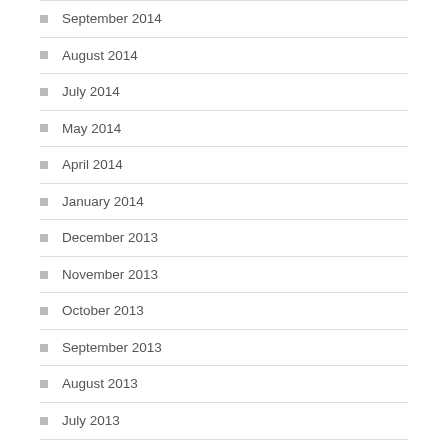September 2014
August 2014
July 2014
May 2014
April 2014
January 2014
December 2013
November 2013
October 2013
September 2013
August 2013
July 2013
June 2013
April 2013
February 2013